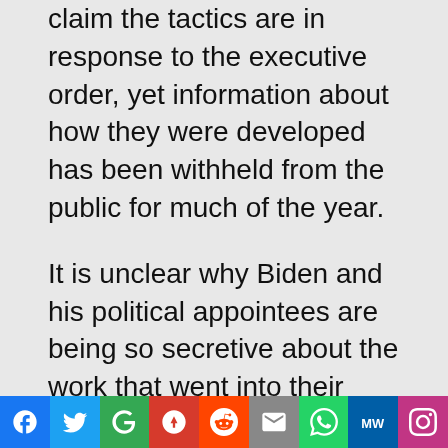claim the tactics are in response to the executive order, yet information about how they were developed has been withheld from the public for much of the year.
It is unclear why Biden and his political appointees are being so secretive about the work that went into their plan to engage in a federal takeover of election administration.
Whatever the case, Americans have a right to know whether these bureaucracies that are meddling in elections have experts in for each state's election laws, what type of
[Figure (other): Social media sharing bar with icons for Facebook, Twitter, Google, Parler, Reddit, Email, WhatsApp, MW, and Instagram]